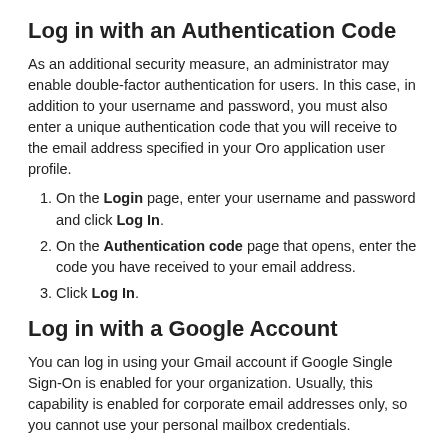Log in with an Authentication Code
As an additional security measure, an administrator may enable double-factor authentication for users. In this case, in addition to your username and password, you must also enter a unique authentication code that you will receive to the email address specified in your Oro application user profile.
On the Login page, enter your username and password and click Log In.
On the Authentication code page that opens, enter the code you have received to your email address.
Click Log In.
Log in with a Google Account
You can log in using your Gmail account if Google Single Sign-On is enabled for your organization. Usually, this capability is enabled for corporate email addresses only, so you cannot use your personal mailbox credentials.